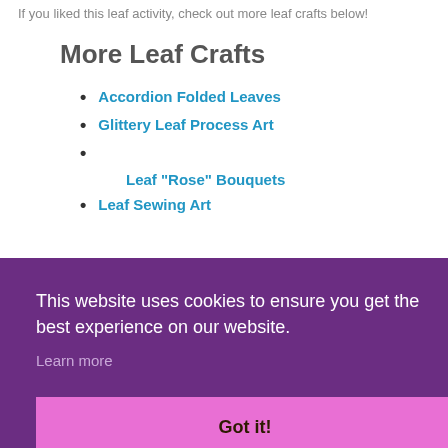If you liked this leaf activity, check out more leaf crafts below!
More Leaf Crafts
Accordion Folded Leaves
Glittery Leaf Process Art
Leaf "Rose" Bouquets
Leaf Sewing Art
This website uses cookies to ensure you get the best experience on our website.
Learn more
Got it!